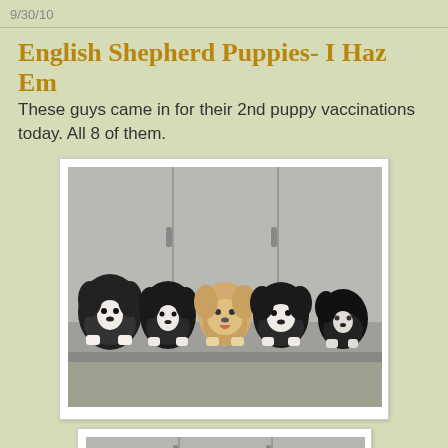9/30/10
English Shepherd Puppies- I Haz Em
These guys came in for their 2nd puppy vaccinations today. All 8 of them.
[Figure (photo): Five English Shepherd puppies sitting in a row on a stainless steel veterinary examination table, in front of stainless steel kennel doors. The puppies are mostly black and white with one tan/white puppy in the middle. Their paws are resting on the edge of the table.]
[Figure (photo): Partial view of what appears to be another photo of the puppies or the veterinary clinic, showing stainless steel kennel doors at the bottom of the page.]